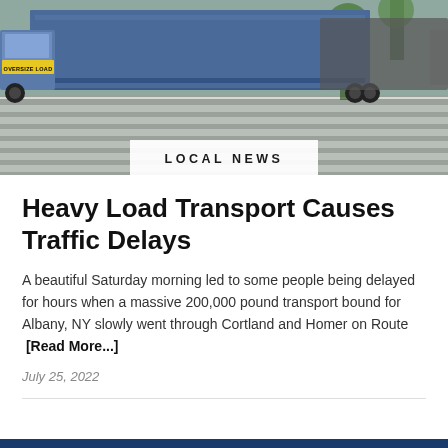[Figure (photo): Large oversize load truck with 'OVERSIZE LOAD' yellow banner on the front, traveling through an intersection on a sunny day. Multiple semi-trucks visible in a convoy on a street with crosswalk markings and trees in background.]
LOCAL NEWS
Heavy Load Transport Causes Traffic Delays
A beautiful Saturday morning led to some people being delayed for hours when a massive 200,000 pound transport bound for Albany, NY slowly went through Cortland and Homer on Route  [Read More...]
July 25, 2022